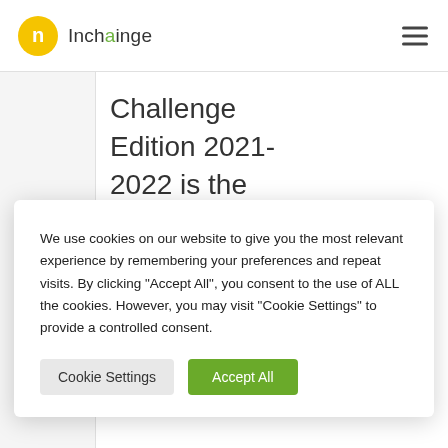Inchainge
Challenge Edition 2021-2022 is the Global Finall Out
We use cookies on our website to give you the most relevant experience by remembering your preferences and repeat visits. By clicking "Accept All", you consent to the use of ALL the cookies. However, you may visit "Cookie Settings" to provide a controlled consent.